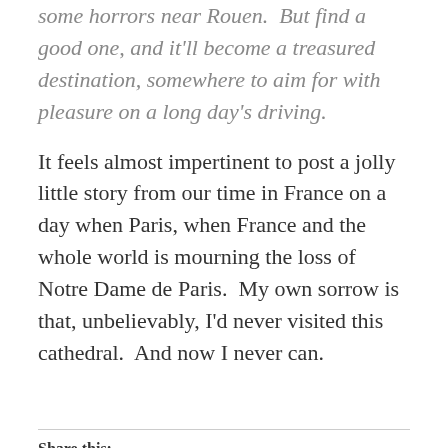some horrors near Rouen.  But find a good one, and it'll become a treasured destination, somewhere to aim for with pleasure on a long day's driving.
It feels almost impertinent to post a jolly little story from our time in France on a day when Paris, when France and the whole world is mourning the loss of Notre Dame de Paris.  My own sorrow is that, unbelievably, I'd never visited this cathedral.  And now I never can.
Share this: